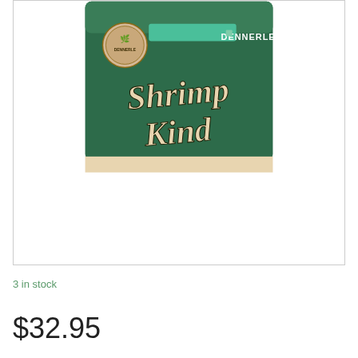[Figure (photo): Product photo of a Dennerle Shrimp King container. The container has a dark green background with a circular Dennerle logo badge on the left, a teal/mint colored bar in the upper middle, and 'DENNERLE' text in white on the upper right. The main text 'Shrimp Kind' is displayed in large decorative script lettering in a cream/tan color. The bottom portion of the image is mostly white/empty.]
3 in stock
$32.95